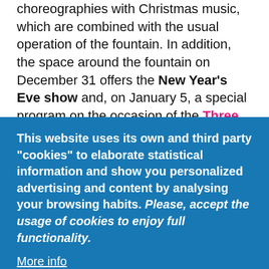choreographies with Christmas music, which are combined with the usual operation of the fountain. In addition, the space around the fountain on December 31 offers the New Year's Eve show and, on January 5, a special program on the occasion of the Three Kings parade.
This website uses its own and third party "cookies" to elaborate statistical information and show you personalized advertising and content by analysing your browsing habits. Please, accept the usage of cookies to enjoy full functionality.
More info
OK, I agree
Decline